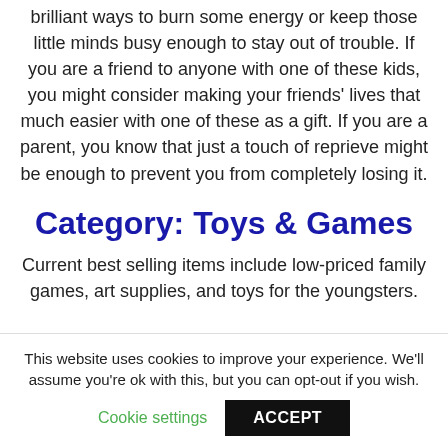brilliant ways to burn some energy or keep those little minds busy enough to stay out of trouble. If you are a friend to anyone with one of these kids, you might consider making your friends' lives that much easier with one of these as a gift. If you are a parent, you know that just a touch of reprieve might be enough to prevent you from completely losing it.
Category: Toys & Games
Current best selling items include low-priced family games, art supplies, and toys for the youngsters.
This website uses cookies to improve your experience. We'll assume you're ok with this, but you can opt-out if you wish.
Cookie settings   ACCEPT